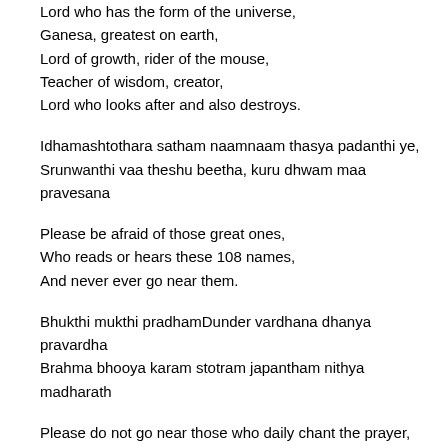Lord who has the form of the universe,
Ganesa, greatest on earth,
Lord of growth, rider of the mouse,
Teacher of wisdom, creator,
Lord who looks after and also destroys.
Idhamashtothara satham naamnaam thasya padanthi ye,
Srunwanthi vaa theshu beetha, kuru dhwam maa pravesana
Please be afraid of those great ones,
Who reads or hears these 108 names,
And never ever go near them.
Bhukthi mukthi pradhamDunder vardhana dhanya pravardha
Brahma bhooya karam stotram japantham nithya madharath
Please do not go near those who daily chant the prayer,
Capable of giving freedom and salvation of Ganesa,
Capable of giving growth of riches and grains,
And capable of bringing the presence of Lord Brahma.